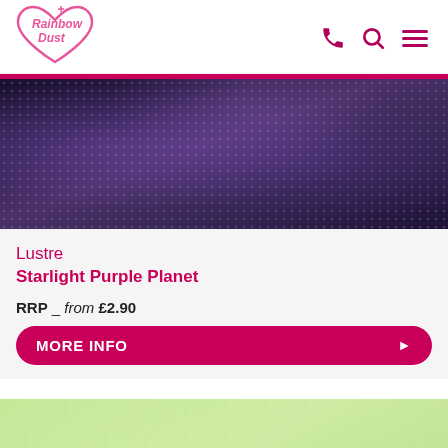Rainbow Dust logo and navigation icons (phone, search, menu)
[Figure (photo): Dark purple/violet lustrous powder texture swatch — Starlight Purple Planet]
Lustre Starlight Purple Planet
RRP _ from £2.90
MORE INFO
[Figure (photo): Light green lustrous powder texture swatch]